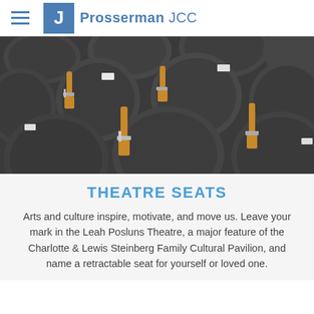Prosserman JCC
[Figure (photo): Close-up photograph of rows of dark grey theatre seats with wooden armrests and metal seat number holders]
THEATRE SEATS
Arts and culture inspire, motivate, and move us. Leave your mark in the Leah Posluns Theatre, a major feature of the Charlotte & Lewis Steinberg Family Cultural Pavilion, and name a retractable seat for yourself or loved one.